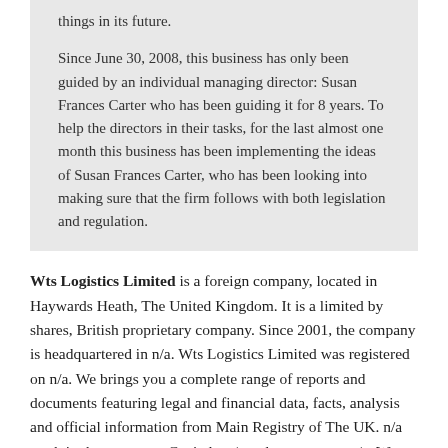things in its future.

Since June 30, 2008, this business has only been guided by an individual managing director: Susan Frances Carter who has been guiding it for 8 years. To help the directors in their tasks, for the last almost one month this business has been implementing the ideas of Susan Frances Carter, who has been looking into making sure that the firm follows with both legislation and regulation.
Wts Logistics Limited is a foreign company, located in Haywards Heath, The United Kingdom. It is a limited by shares, British proprietary company. Since 2001, the company is headquartered in n/a. Wts Logistics Limited was registered on n/a. We brings you a complete range of reports and documents featuring legal and financial data, facts, analysis and official information from Main Registry of The UK. n/a work in the company. Capital - n/a, sales per year - n/a. Wts Logistics Limited is Private Limited Company. The main activity of Wts Logistics Limited is Transportation